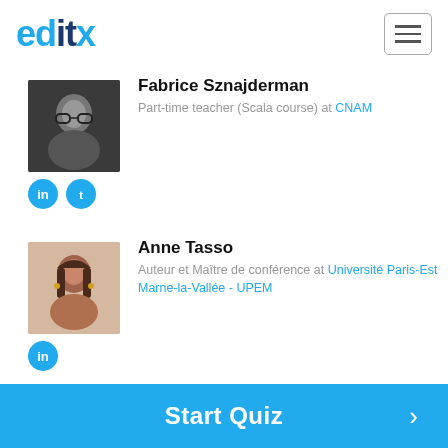[Figure (logo): editx logo — 'ed' in cyan, 'it' in dark navy, 'x' in cyan]
[Figure (other): Hamburger menu button (three horizontal lines in a rounded rectangle border)]
[Figure (photo): Black and white headshot of Fabrice Sznajderman, a man with glasses and a beard]
Fabrice Sznajderman
Part-time teacher (Scala course) at CNAM
[Figure (other): LinkedIn and Twitter social icons (blue circles) for Fabrice Sznajderman]
[Figure (photo): Color headshot of Anne Tasso, a woman with dark hair and bangs]
Anne Tasso
Auteur et Maître de conférence at Université Paris-Est Marne-la-Vallée - UPEM
[Figure (other): LinkedIn social icon (blue circle) for Anne Tasso]
[Figure (photo): Dark headshot of Antoine Vacavant]
Antoine Vacavant
Associate Professor at IUT du Puy-
Start Quiz →